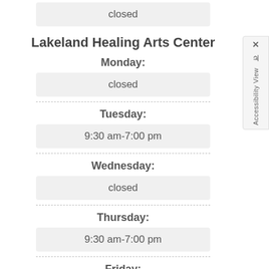closed
Lakeland Healing Arts Center
Monday:
closed
Tuesday:
9:30 am-7:00 pm
Wednesday:
closed
Thursday:
9:30 am-7:00 pm
Friday: